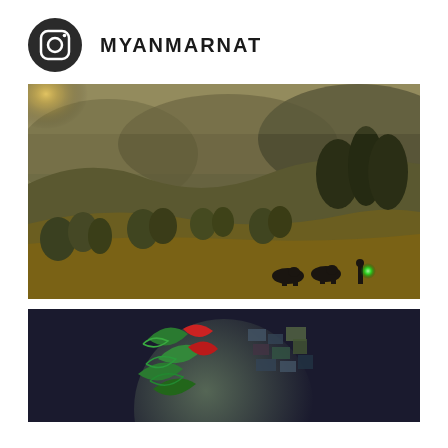MYANMARNAT
[Figure (photo): HDR landscape photograph showing rolling hills with terraced fields, scattered trees, cattle and a herder in the foreground, golden-green tones with a green lens flare in the lower right, mountains and mist in the background.]
[Figure (photo): Close-up photograph of a decorative sphere or globe object with colorful ornate patterns — green, red, and multicolored designs — against a dark background. Partially cropped at the bottom of the page.]